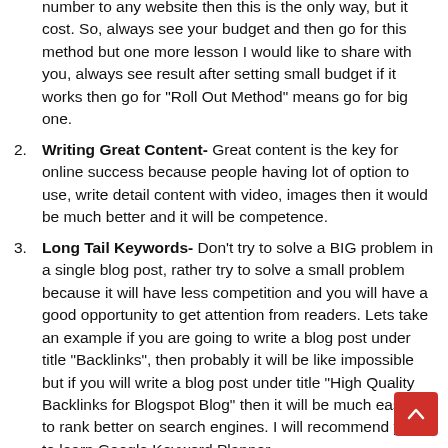(continuation) number to any website then this is the only way, but it cost. So, always see your budget and then go for this method but one more lesson I would like to share with you, always see result after setting small budget if it works then go for "Roll Out Method" means go for big one.
2. Writing Great Content- Great content is the key for online success because people having lot of option to use, write detail content with video, images then it would be much better and it will be competence.
3. Long Tail Keywords- Don't try to solve a BIG problem in a single blog post, rather try to solve a small problem because it will have less competition and you will have a good opportunity to get attention from readers. Lets take an example if you are going to write a blog post under title "Backlinks", then probably it will be like impossible but if you will write a blog post under title "High Quality Backlinks for Blogspot Blog" then it will be much easier to rank better on search engines. I will recommend you to learn Google Keyword Planner